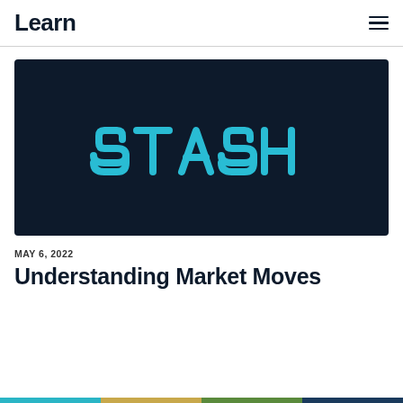Learn
[Figure (logo): Stash brand logo — white/cyan 'STASH' wordmark on dark navy background]
MAY 6, 2022
Understanding Market Moves